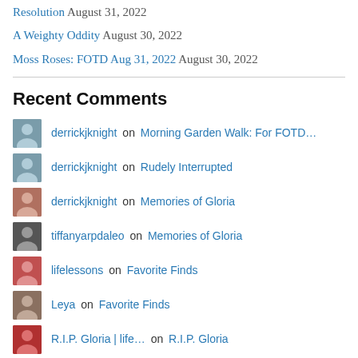Resolution August 31, 2022
A Weighty Oddity August 30, 2022
Moss Roses: FOTD Aug 31, 2022 August 30, 2022
Recent Comments
derrickjknight on Morning Garden Walk: For FOTD…
derrickjknight on Rudely Interrupted
derrickjknight on Memories of Gloria
tiffanyarpdaleo on Memories of Gloria
lifelessons on Favorite Finds
Leya on Favorite Finds
R.I.P. Gloria | life… on R.I.P. Gloria
JohnRH on Rudely Interrupted
okcForgottenMan on Rudely Interrupted
bushboy on Last on the Card: Can You Tell…
lifelessons on Last on the Card: Can You Tell…
Dreamer9177 on Last on the Card: Can You Tell